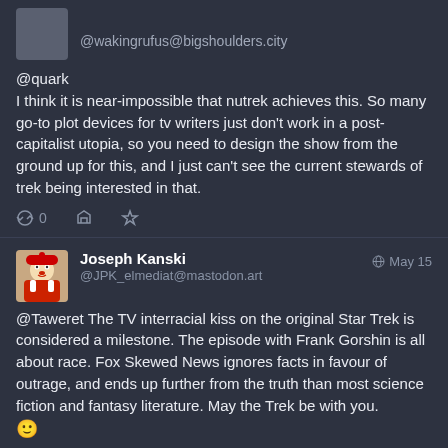@wakingrufus@bigshoulders.city
@quark
I think it is near-impossible that nutrek achieves this. So many go-to plot devices for tv writers just don't work in a post-capitalist utopia, so you need to design the show from the ground up for this, and I just can't see the current stewards of trek being interested in that.
0
Joseph Kanski @JPK_elmediat@mastodon.art May 15
@Taweret The TV interracial kiss on the original Star Trek is considered a milestone. The episode with Frank Gorshin is all about race. Fox Skewed News ignores facts in favour of outrage, and ends up further from the truth than most science fiction and fantasy literature. May the Trek be with you. 🙂